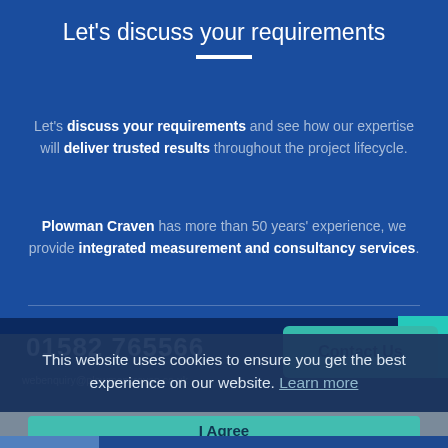Let's discuss your requirements
Let's discuss your requirements and see how our expertise will deliver trusted results throughout the project lifecycle.
Plowman Craven has more than 50 years' experience, we provide integrated measurement and consultancy services.
01582 765566
webenquiry@plowmancraven.co.uk
Contact Us
This website uses cookies to ensure you get the best experience on our website. Learn more
I Agree